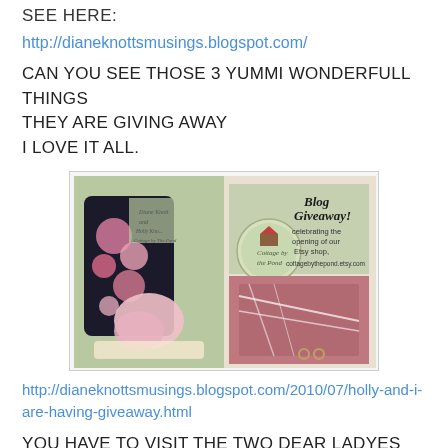SEE HERE:
http://dianeknottsmusings.blogspot.com/
CAN YOU SEE THOSE 3 YUMMI WONDERFULL THINGS THEY ARE GIVING AWAY
I LOVE IT ALL.
[Figure (photo): Blog giveaway promotional image showing decorated shoes and a pink patterned box, with text 'Blog Giveaway! celebrating the opening of our Etsy shop, cottagebythepond.etsy.com' and logo 'Cottage by the Pond']
http://dianeknottsmusings.blogspot.com/2010/07/holly-and-i-are-having-giveaway.html
YOU HAVE TO VISIT THE TWO DEAR LADYES AND